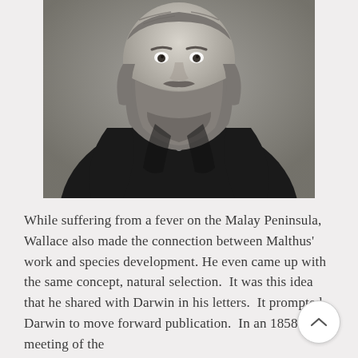[Figure (photo): Black and white photograph of an elderly bearded man wearing a dark coat, shown from chest up. The man appears to be Charles Darwin or Alfred Russel Wallace, with a large thick beard and serious expression.]
While suffering from a fever on the Malay Peninsula, Wallace also made the connection between Malthus' work and species development. He even came up with the same concept, natural selection.  It was this idea that he shared with Darwin in his letters.  It prompted Darwin to move forward publication.  In an 1858 meeting of the